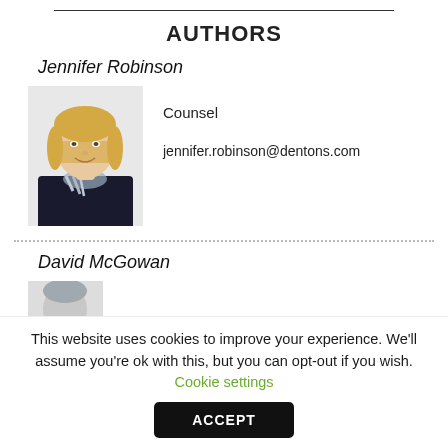AUTHORS
Jennifer Robinson
[Figure (photo): Professional headshot of Jennifer Robinson, a woman with blonde hair wearing a dark jacket and patterned scarf]
Counsel
jennifer.robinson@dentons.com
David McGowan
[Figure (photo): Partial headshot of David McGowan, partially cut off]
Counsel, Glasgow
This website uses cookies to improve your experience. We'll assume you're ok with this, but you can opt-out if you wish. Cookie settings
ACCEPT